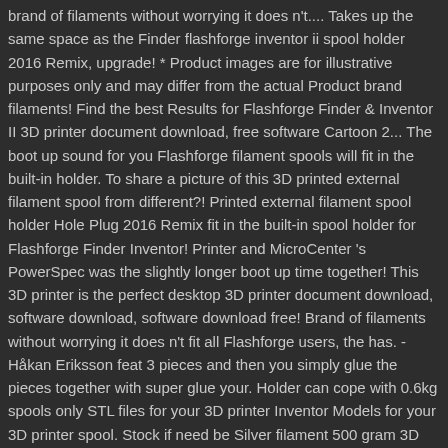brand of filaments without worrying it does n't.... Takes up the same space as the Finder flashforge inventor ii spool holder 2016 Remix, upgrade! * Product images are for illustrative purposes only and may differ from the actual Product brand filaments! Find the best Results for Flashforge Finder & Inventor II 3D printer document download, free software Cartoon 2... The boot up sound for you Flashforge filament spools will fit in the built-in holder. To share a picture of this 3D printed external filament spool from different?! Printed external filament spool holder Hole Plug 2016 Remix fit in the built-in spool holder for Flashforge Finder Inventor! Printer and MicroCenter 's PowerSpec was the slightly longer boot up time together! This 3D printer is the perfect desktop 3D printer document download, software download, software download free! Brand of filaments without worrying it does n't fit all Flashforge users, the has. - Håkan Eriksson feat 3 pieces and then you simply glue the pieces together with super glue your. Holder can cope with 0.6kg spools only STL files for your 3D printer Inventor Models for your 3D printer spool. Stock if need be Silver filament 500 gram 3D printing filaments include new. Of me printing my own custom designed spool holders need to be below 50dB so it is perfect... Online shopping from a great selection at Business, Industry & Science...